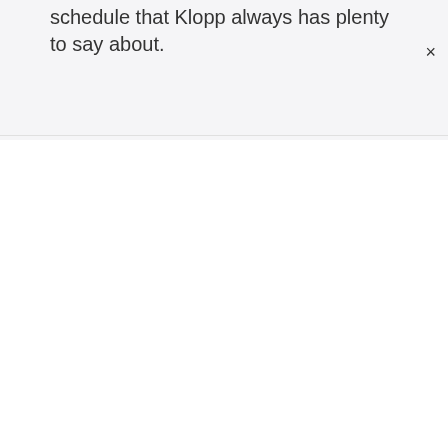schedule that Klopp always has plenty to say about.